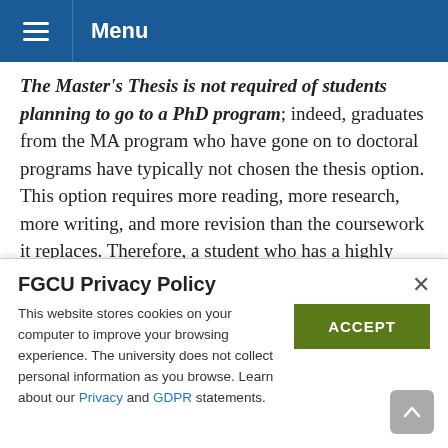Menu
The Master's Thesis is not required of students planning to go to a PhD program; indeed, graduates from the MA program who have gone on to doctoral programs have typically not chosen the thesis option. This option requires more reading, more research, more writing, and more revision than the coursework it replaces. Therefore, a student who has a highly defined project in mind might find the thesis option an appropriate challenge. The preparation, research, drafting, revising, and defending of
FGCU Privacy Policy
This website stores cookies on your computer to improve your browsing experience. The university does not collect personal information as you browse. Learn about our Privacy and GDPR statements.